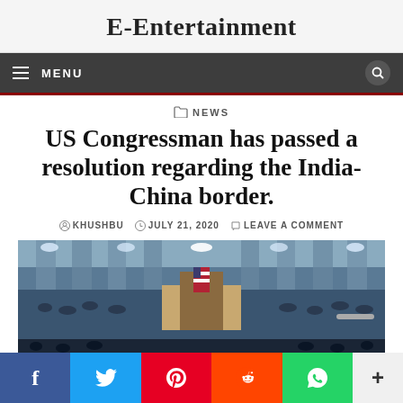E-Entertainment
MENU
NEWS
US Congressman has passed a resolution regarding the India-China border.
KHUSHBU   JULY 21, 2020   LEAVE A COMMENT
[Figure (photo): Wide-angle view of the US Congress chamber filled with members during a session, showing the grand hall with American flag at the podium.]